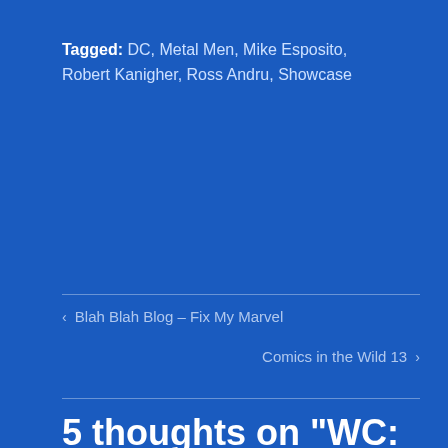Tagged:  DC,  Metal Men,  Mike Esposito,  Robert Kanigher,  Ross Andru,  Showcase
< Blah Blah Blog – Fix My Marvel
Comics in the Wild 13  >
5 thoughts on “WC: SHOWCASE #40”